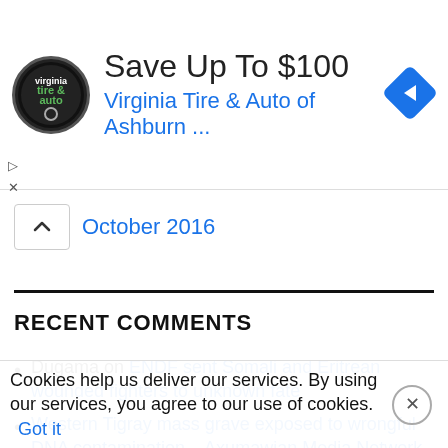[Figure (screenshot): Advertisement banner for Virginia Tire & Auto of Ashburn with logo, text 'Save Up To $100' and 'Virginia Tire & Auto of Ashburn ...' and a blue direction sign icon.]
October 2016
RECENT COMMENTS
Dugama on ENDF sent Somali and Eritrean wounded fighters to unknown fate
Western Tigray mass grave exposed to wrongful DNA contamination – Axumawian Media Network, LLC on Western Tigray mass grave exposed to wrongful DNA contamination
Cookies help us deliver our services. By using our services, you agree to our use of cookies. Got it